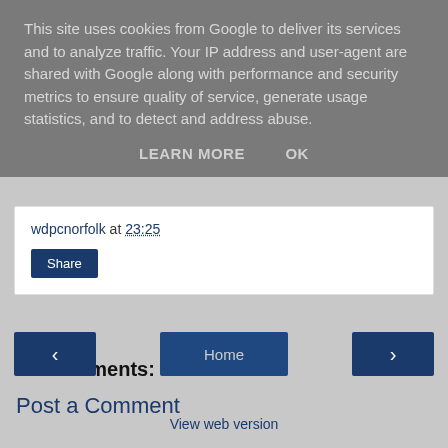This site uses cookies from Google to deliver its services and to analyze traffic. Your IP address and user-agent are shared with Google along with performance and security metrics to ensure quality of service, generate usage statistics, and to detect and address abuse.
LEARN MORE   OK
wdpcnorfolk at 23:25
Share
No comments:
Post a Comment
‹
Home
›
View web version